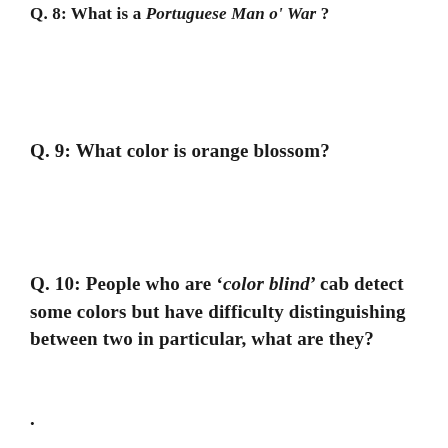Q. 8: What is a Portuguese Man o' War?
Q. 9: What color is orange blossom?
Q. 10: People who are 'color blind' cab detect some colors but have difficulty distinguishing between two in particular, what are they?
.